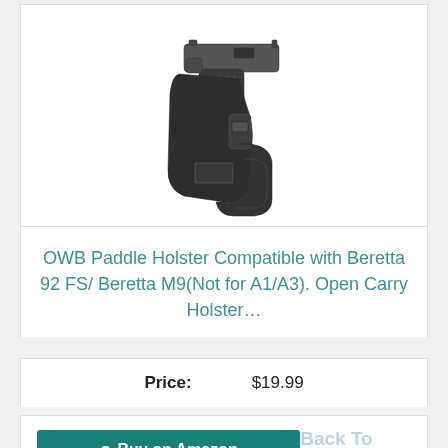[Figure (photo): A black OWB paddle holster with a pistol (Beretta-style) inserted, shown at an angle against a white background.]
OWB Paddle Holster Compatible with Beretta 92 FS/ Beretta M9(Not for A1/A3). Open Carry Holster…
Price: $19.99
Buy on Amazon
Back To Top